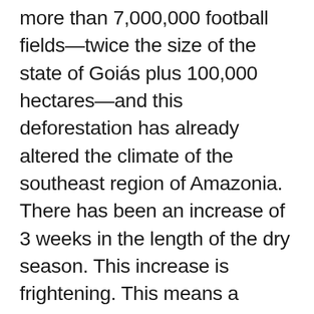more than 7,000,000 football fields—twice the size of the state of Goiás plus 100,000 hectares—and this deforestation has already altered the climate of the southeast region of Amazonia. There has been an increase of 3 weeks in the length of the dry season. This increase is frightening. This means a shortening of the rainy season; those who plant crops know the problem of having a shorter window for planting. And this deforestation [*climate change] occurs because, when you knock down an Amazonian tree, you lose the capacity of this system to take water that is in the soil and to emit it into the atmosphere.